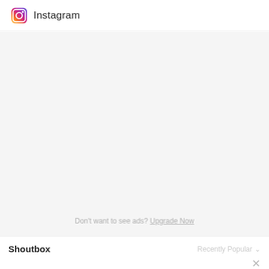Instagram
[Figure (other): Gray advertisement area with 'Don't want to see ads? Upgrade Now' text at the bottom]
Don't want to see ads? Upgrade Now
Shoutbox
Recently Popular